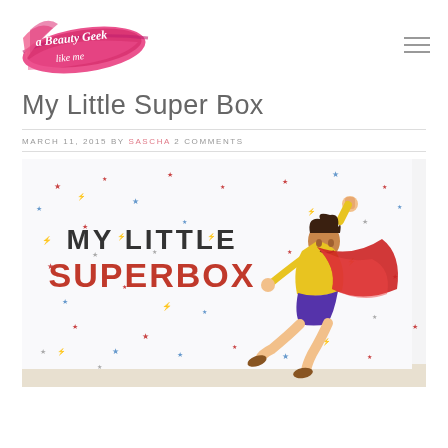[Figure (logo): Beauty Geek Like Me logo — pink brushstroke watercolor logo with cursive white text]
My Little Super Box
MARCH 11, 2015 BY SASCHA 2 COMMENTS
[Figure (photo): Close-up photo of the My Little Superbox subscription box. The white box lid shows 'MY LITTLE' in dark text and 'SUPERBOX' in bold red text, decorated with colorful stars and lightning bolts. On the right side is an illustration of a female superhero in a yellow top, purple shorts, and red cape flying diagonally.]